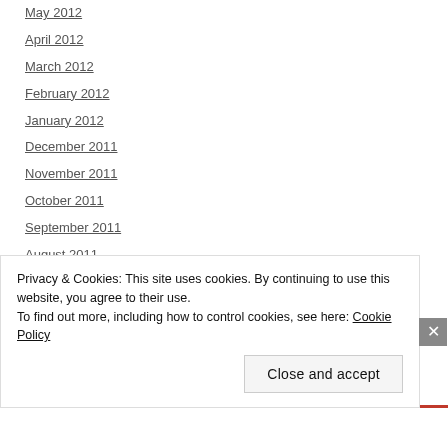May 2012
April 2012
March 2012
February 2012
January 2012
December 2011
November 2011
October 2011
September 2011
August 2011
July 2011
June 2011
May 2011
Privacy & Cookies: This site uses cookies. By continuing to use this website, you agree to their use. To find out more, including how to control cookies, see here: Cookie Policy